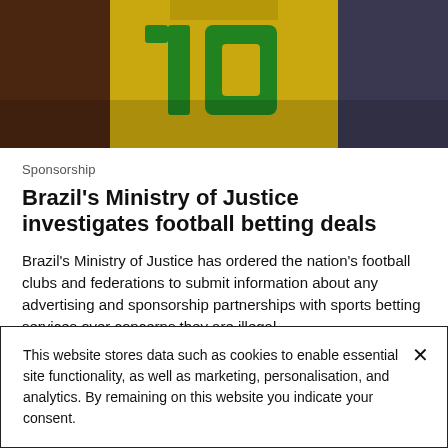[Figure (photo): Photo of a person wearing a yellow Brazil football jersey with the number 10 in green on the back, partially cropped showing another person in background]
Sponsorship
Brazil's Ministry of Justice investigates football betting deals
Brazil's Ministry of Justice has ordered the nation's football clubs and federations to submit information about any advertising and sponsorship partnerships with sports betting services over concerns they are illegal.
By Richard Mulligan
31 Aug 2022 – News
This website stores data such as cookies to enable essential site functionality, as well as marketing, personalisation, and analytics. By remaining on this website you indicate your consent.